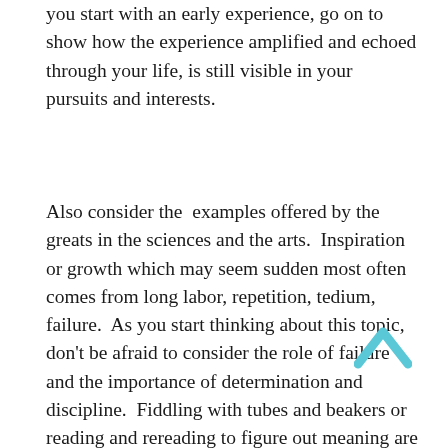you start with an early experience, go on to show how the experience amplified and echoed through your life, is still visible in your pursuits and interests.
Also consider the  examples offered by the greats in the sciences and the arts.  Inspiration or growth which may seem sudden most often comes from long labor, repetition, tedium, failure.  As you start thinking about this topic, don't be afraid to consider the role of failure and the importance of determination and discipline.  Fiddling with tubes and beakers or reading and rereading to figure out meaning are part of the deal and you should not be afraid to talk about these things.  Your essay isn't a movie trailer full of explosions and leaps from tall buildings, nor does it need to be about awards received and competitions won